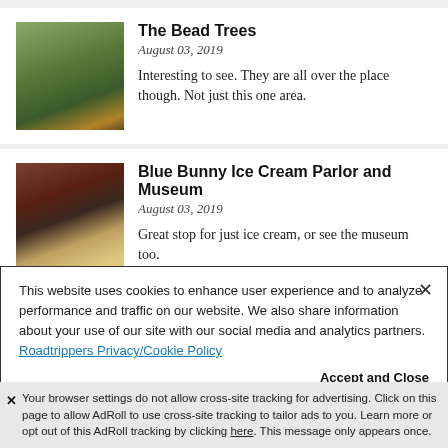[Figure (photo): Photo of bare trees with colorful beads hanging from branches]
The Bead Trees
August 03, 2019
Interesting to see. They are all over the place though. Not just this one area.
[Figure (photo): Interior photo of Blue Bunny Ice Cream Parlor and Museum]
Blue Bunny Ice Cream Parlor and Museum
August 03, 2019
Great stop for just ice cream, or see the museum too. No admission fee. Just pay for any ice cream you
This website uses cookies to enhance user experience and to analyze performance and traffic on our website. We also share information about your use of our site with our social media and analytics partners. Roadtrippers Privacy/Cookie Policy
Accept and Close
Your browser settings do not allow cross-site tracking for advertising. Click on this page to allow AdRoll to use cross-site tracking to tailor ads to you. Learn more or opt out of this AdRoll tracking by clicking here. This message only appears once.